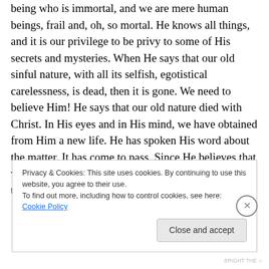being who is immortal, and we are mere human beings, frail and, oh, so mortal. He knows all things, and it is our privilege to be privy to some of His secrets and mysteries. When He says that our old sinful nature, with all its selfish, egotistical carelessness, is dead, then it is gone. We need to believe Him! He says that our old nature died with Christ. In His eyes and in His mind, we have obtained from Him a new life. He has spoken His word about the matter. It has come to pass. Since He believes that we have a new life, then our new life in Him is the truth. Believing
Privacy & Cookies: This site uses cookies. By continuing to use this website, you agree to their use.
To find out more, including how to control cookies, see here: Cookie Policy
Close and accept